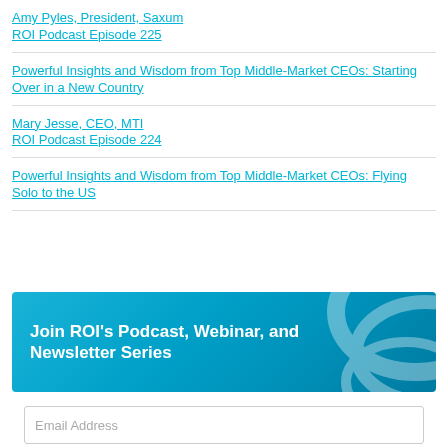Amy Pyles, President, Saxum
ROI Podcast Episode 225
Powerful Insights and Wisdom from Top Middle-Market CEOs: Starting Over in a New Country
Mary Jesse, CEO, MTI
ROI Podcast Episode 224
Powerful Insights and Wisdom from Top Middle-Market CEOs: Flying Solo to the US
[Figure (infographic): Blue gradient banner with decorative swirl pattern reading 'Join ROI's Podcast, Webinar, and Newsletter Series']
Email Address